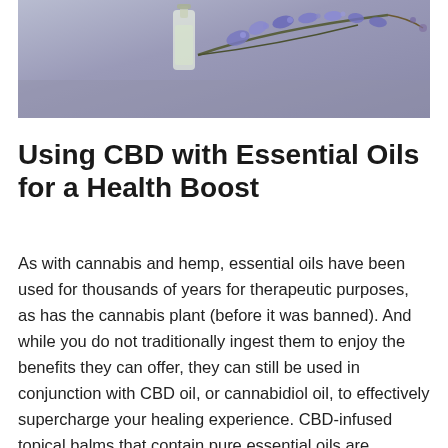[Figure (photo): A glass bottle with essential oil and purple/blue dried flowers (lavender or rosemary) arranged on a grey surface]
Using CBD with Essential Oils for a Health Boost
As with cannabis and hemp, essential oils have been used for thousands of years for therapeutic purposes, as has the cannabis plant (before it was banned). And while you do not traditionally ingest them to enjoy the benefits they can offer, they can still be used in conjunction with CBD oil, or cannabidiol oil, to effectively supercharge your healing experience. CBD-infused topical balms that contain pure essential oils are becoming increasingly popular, especially among those suffering from skin conditions or pain. And while neither CBD